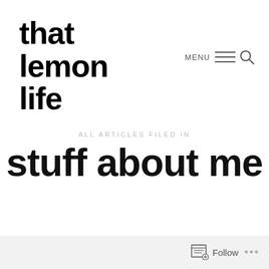that lemon life
MENU
ALL ARTICLES FILED IN
stuff about me
Follow ...